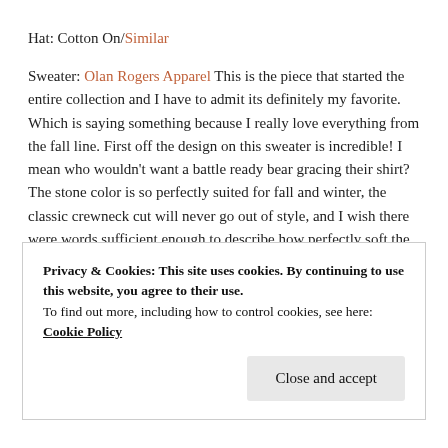Hat: Cotton On/Similar
Sweater: Olan Rogers Apparel This is the piece that started the entire collection and I have to admit its definitely my favorite. Which is saying something because I really love everything from the fall line. First off the design on this sweater is incredible! I mean who wouldn't want a battle ready bear gracing their shirt? The stone color is so perfectly suited for fall and winter, the classic crewneck cut will never go out of style, and I wish there were words sufficient enough to describe how perfectly soft the inner lining is, maybe this is what its like to be that paper cone they wrap cotton candy around? Oh and
Privacy & Cookies: This site uses cookies. By continuing to use this website, you agree to their use.
To find out more, including how to control cookies, see here: Cookie Policy
Close and accept